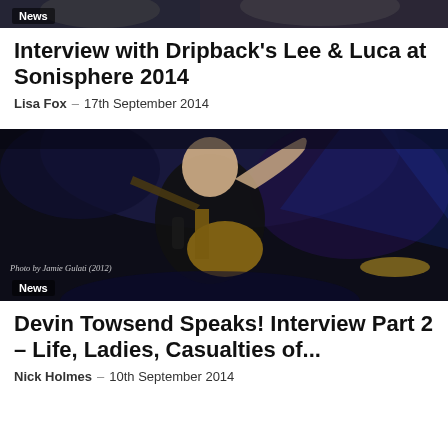[Figure (photo): Top portion of a photo showing musicians, partially cropped at top of page]
Interview with Dripback's Lee & Luca at Sonisphere 2014
Lisa Fox – 17th September 2014
[Figure (photo): Concert photo of a bald guitarist on stage playing guitar and raising his arm, dark stage lighting. Photo credit: Jamie Gulati (2012). News badge overlay.]
Devin Towsend Speaks! Interview Part 2 – Life, Ladies, Casualties of...
Nick Holmes – 10th September 2014